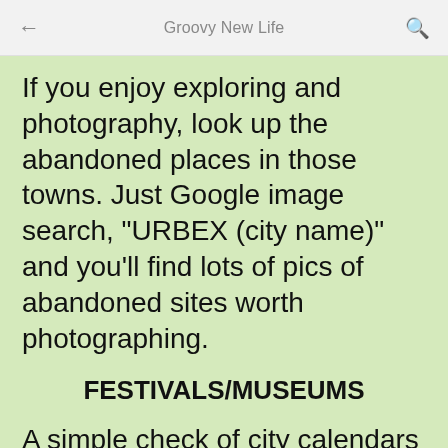Groovy New Life
If you enjoy exploring and photography, look up the abandoned places in those towns. Just Google image search, "URBEX (city name)" and you'll find lots of pics of abandoned sites worth photographing.
FESTIVALS/MUSEUMS
A simple check of city calendars online can show you all kinds of